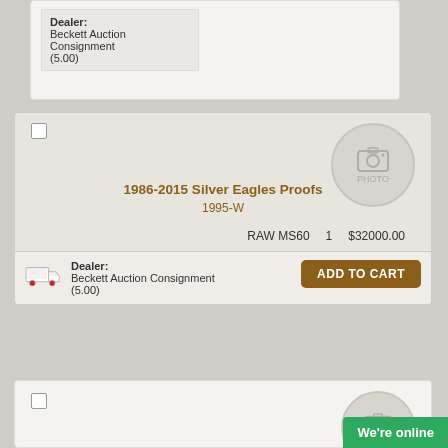Dealer: Beckett Auction Consignment (5.00)
1986-2015 Silver Eagles Proofs 1995-W
RAW MS60   1   $32000.00
ADD TO CART
Dealer: Beckett Auction Consignment (5.00)
[Figure (other): Photo placeholder circle with camera icon and PHOTO text]
[Figure (other): Photo placeholder circle with camera icon and PHOTO text (partial, bottom card)]
We're online